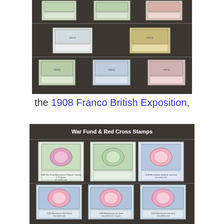[Figure (photo): Photograph of a stamp album page showing multiple stamps from the 1908 Franco British Exposition, mounted on a dark background in rows]
the 1908 Franco British Exposition,
[Figure (photo): Photograph of a stamp album page titled 'War Fund & Red Cross Stamps' showing multiple war fund and red cross stamps mounted on a dark background in rows with captions]